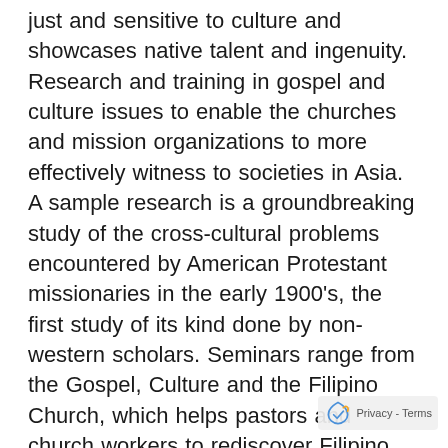just and sensitive to culture and showcases native talent and ingenuity. Research and training in gospel and culture issues to enable the churches and mission organizations to more effectively witness to societies in Asia. A sample research is a groundbreaking study of the cross-cultural problems encountered by American Protestant missionaries in the early 1900's, the first study of its kind done by non-western scholars. Seminars range from the Gospel, Culture and the Filipino Church, which helps pastors and church workers to rediscover Filipino culture and root the gospel in it; and Making Filipino Culture Work For You, a cultural orientation seminar for missionaries, corporate and development executives and other R e s u l t s a n d D i s c u s s i o n s | 63 expatriates seeking to work more effectively by deepening appreciation of Filipino culture and how it can facilitate instead of hinder corporate efficiency. Political Advocacy the scholars the research has been the result of